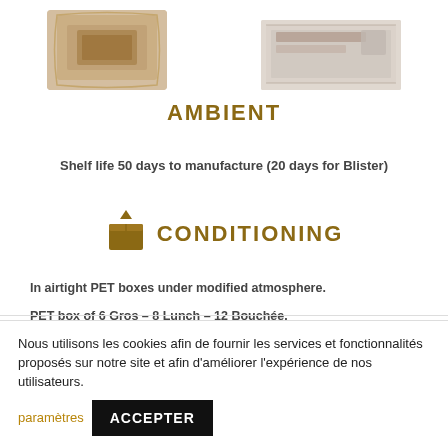[Figure (photo): Two product packages partially visible at the top: a wrapped/blister meat product on the left and a boxed product on the right]
AMBIENT
Shelf life 50 days to manufacture (20 days for Blister)
CONDITIONING
In airtight PET boxes under modified atmosphere.
PET box of 6 Gros – 8 Lunch – 12 Bouchée.
Nous utilisons les cookies afin de fournir les services et fonctionnalités proposés sur notre site et afin d'améliorer l'expérience de nos utilisateurs.
paramètres
ACCEPTER